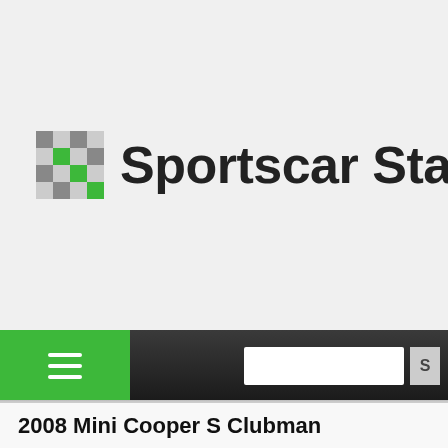[Figure (logo): Sportscar Standings logo with checkered flag icon and site name text]
2008 Mini Cooper S Clubman